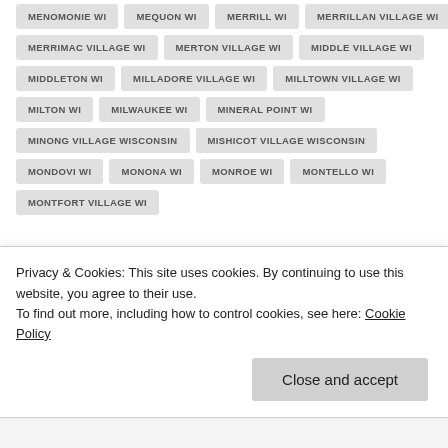MENOMONIE WI
MEQUON WI
MERRILL WI
MERRILLAN VILLAGE WI
MERRIMAC VILLAGE WI
MERTON VILLAGE WI
MIDDLE VILLAGE WI
MIDDLETON WI
MILLADORE VILLAGE WI
MILLTOWN VILLAGE WI
MILTON WI
MILWAUKEE WI
MINERAL POINT WI
MINONG VILLAGE WISCONSIN
MISHICOT VILLAGE WISCONSIN
MONDOVI WI
MONONA WI
MONROE WI
MONTELLO WI
MONTFORT VILLAGE WI
Privacy & Cookies: This site uses cookies. By continuing to use this website, you agree to their use.
To find out more, including how to control cookies, see here: Cookie Policy
Close and accept